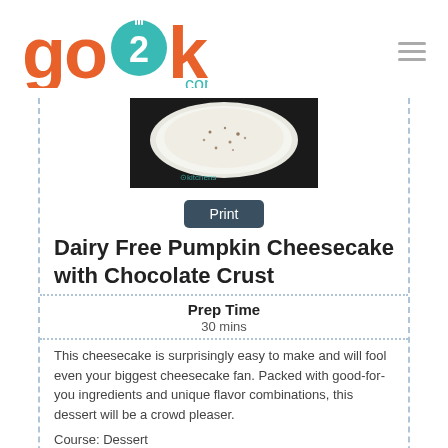[Figure (logo): go2kitchens.com logo with teal and orange lettering]
[Figure (photo): Close-up photo of a pumpkin cheesecake with chocolate crust, white filling with dark speckles, on a dark background with go2kitchens watermark]
Print
Dairy Free Pumpkin Cheesecake with Chocolate Crust
Prep Time
30 mins
This cheesecake is surprisingly easy to make and will fool even your biggest cheesecake fan. Packed with good-for-you ingredients and unique flavor combinations, this dessert will be a crowd pleaser.
Course: Dessert
Cuisine: Vegan
Servings: 8
Ingredients